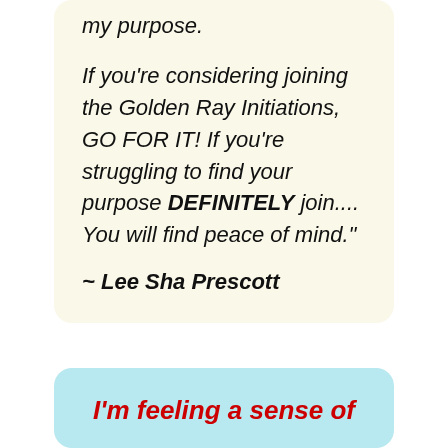my purpose. If you're considering joining the Golden Ray Initiations, GO FOR IT! If you're struggling to find your purpose DEFINITELY join.... You will find peace of mind."
~ Lee Sha Prescott
I'm feeling a sense of